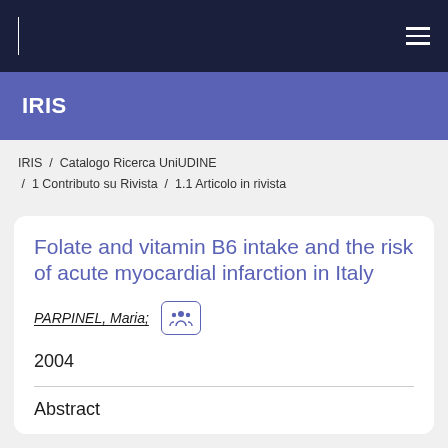IRIS
IRIS / Catalogo Ricerca UniUDINE / 1 Contributo su Rivista / 1.1 Articolo in rivista
Folate and vitamin B6 intake and the risk of acute myocardial infarction in Italy
PARPINEL, Maria;
2004
Abstract